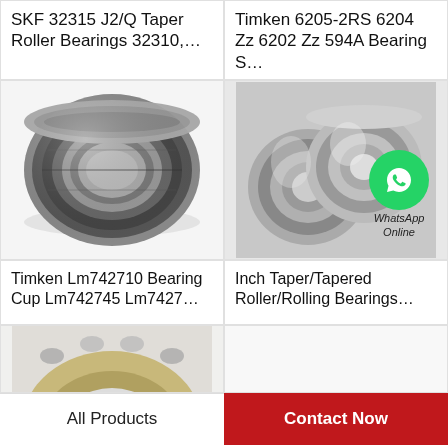SKF 32315 J2/Q Taper Roller Bearings 32310,…
Timken 6205-2RS 6204 Zz 6202 Zz 594A Bearing S…
[Figure (photo): Taper roller bearing, metallic, side view showing rollers and cone assembly]
[Figure (photo): Double row spherical roller bearing with WhatsApp Online overlay]
Timken Lm742710 Bearing Cup Lm742745 Lm7427…
Inch Taper/Tapered Roller/Rolling Bearings…
[Figure (photo): Partial view of a roller bearing from below, showing rollers]
All Products
Contact Now